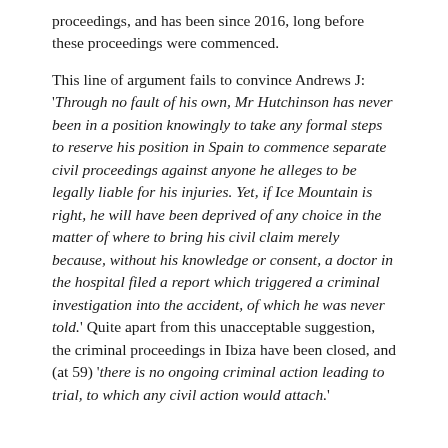proceedings, and has been since 2016, long before these proceedings were commenced.
This line of argument fails to convince Andrews J: 'Through no fault of his own, Mr Hutchinson has never been in a position knowingly to take any formal steps to reserve his position in Spain to commence separate civil proceedings against anyone he alleges to be legally liable for his injuries. Yet, if Ice Mountain is right, he will have been deprived of any choice in the matter of where to bring his civil claim merely because, without his knowledge or consent, a doctor in the hospital filed a report which triggered a criminal investigation into the accident, of which he was never told.' Quite apart from this unacceptable suggestion, the criminal proceedings in Ibiza have been closed, and (at 59) 'there is no ongoing criminal action leading to trial, to which any civil action would attach.'